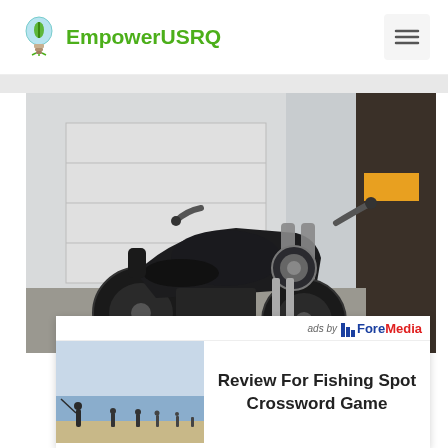EmpowerUSRQ
[Figure (photo): Black motorcycle parked near a garage door and wooden pole with yellow stripe]
[Figure (infographic): Advertisement overlay: 'ads by ForeMedia' header, fishing beach photo thumbnail, title 'Review For Fishing Spot Crossword Game']